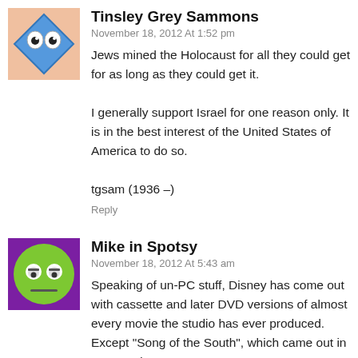[Figure (illustration): Avatar image for Tinsley Grey Sammons - a blue diamond shape with cartoon eyes on a light background]
Tinsley Grey Sammons
November 18, 2012 At 1:52 pm
Jews mined the Holocaust for all they could get for as long as they could get it.

I generally support Israel for one reason only. It is in the best interest of the United States of America to do so.

tgsam (1936 –)
Reply
[Figure (illustration): Avatar image for Mike in Spotsy - a green smiley face with annoyed expression on a purple/magenta background]
Mike in Spotsy
November 18, 2012 At 5:43 am
Speaking of un-PC stuff, Disney has come out with cassette and later DVD versions of almost every movie the studio has ever produced. Except "Song of the South", which came out in 1946 and was